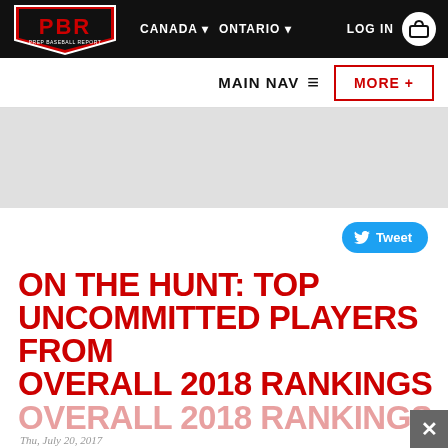PBR PREP BASEBALL REPORT — CANADA ▾ ONTARIO ▾ — LOG IN 🛒
MAIN NAV ≡  MORE +
ON THE HUNT: TOP UNCOMMITTED PLAYERS FROM OVERALL 2018 RANKINGS
Thu, July 20, 2017